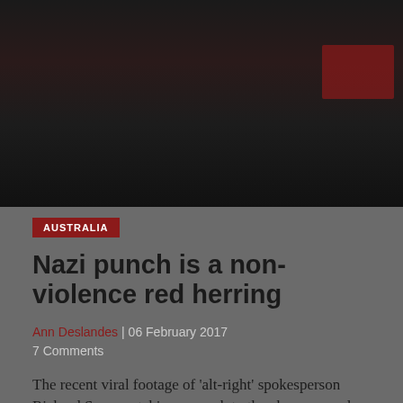[Figure (photo): Dark photograph showing figures in low light, with a dark red/maroon sign or banner visible in the upper right corner]
AUSTRALIA
Nazi punch is a non-violence red herring
Ann Deslandes | 06 February 2017
7 Comments
The recent viral footage of 'alt-right' spokesperson Richard Spencer taking a punch to the chops caused considerable debate. There is no doubting the moral